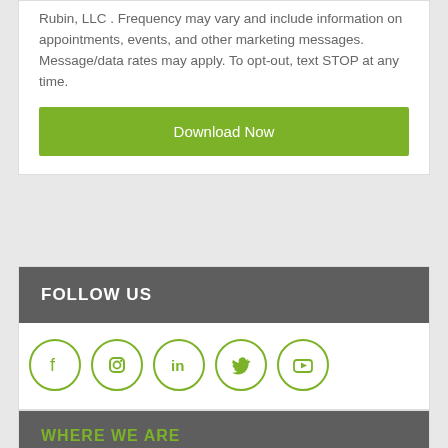Rubin, LLC . Frequency may vary and include information on appointments, events, and other marketing messages. Message/data rates may apply. To opt-out, text STOP at any time.
Download Now
FOLLOW US
[Figure (infographic): Five social media icons in green circles: Facebook, Instagram, LinkedIn, Twitter, YouTube]
WHERE WE ARE